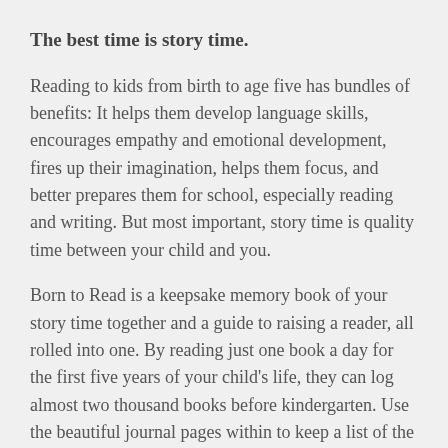The best time is story time.
Reading to kids from birth to age five has bundles of benefits: It helps them develop language skills, encourages empathy and emotional development, fires up their imagination, helps them focus, and better prepares them for school, especially reading and writing. But most important, story time is quality time between your child and you.
Born to Read is a keepsake memory book of your story time together and a guide to raising a reader, all rolled into one. By reading just one book a day for the first five years of your child's life, they can log almost two thousand books before kindergarten. Use the beautiful journal pages within to keep a list of the books you and your child read together from birth to age five. It's a perfect way to recall